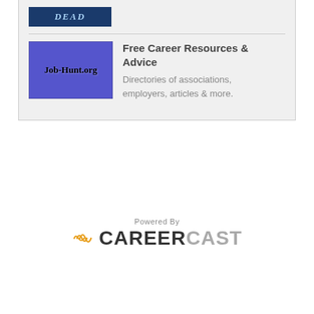[Figure (screenshot): Partial top card with a dark blue banner image (partially cut off at top) and partial gray text to the right]
[Figure (logo): Job-Hunt.org logo — blue/purple background with text 'Job-Hunt.org']
Free Career Resources & Advice
Directories of associations, employers, articles & more.
[Figure (logo): Powered By CAREERCAST logo with orange wave/signal icon]